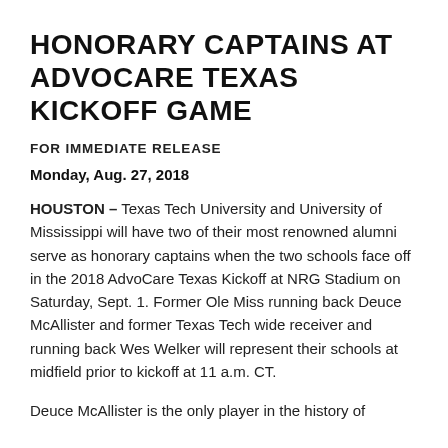HONORARY CAPTAINS AT ADVOCARE TEXAS KICKOFF GAME
FOR IMMEDIATE RELEASE
Monday, Aug. 27, 2018
HOUSTON – Texas Tech University and University of Mississippi will have two of their most renowned alumni serve as honorary captains when the two schools face off in the 2018 AdvoCare Texas Kickoff at NRG Stadium on Saturday, Sept. 1. Former Ole Miss running back Deuce McAllister and former Texas Tech wide receiver and running back Wes Welker will represent their schools at midfield prior to kickoff at 11 a.m. CT.
Deuce McAllister is the only player in the history of